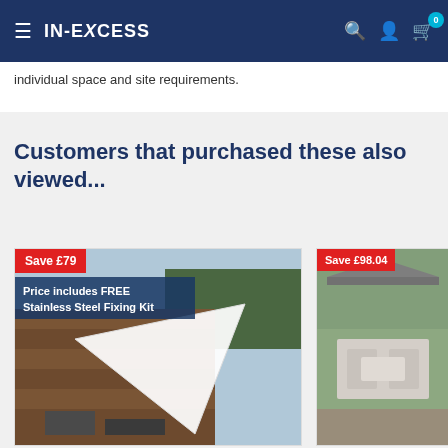IN-EXCESS
individual space and site requirements.
Customers that purchased these also viewed...
[Figure (photo): Product card showing a white shade sail over a patio with banner: Price includes FREE Stainless Steel Fixing Kit. Save £79 badge.]
[Figure (photo): Product card partially visible showing outdoor gazebo/patio set. Save £98.04 badge.]